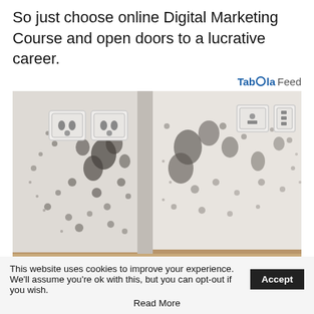So just choose online Digital Marketing Course and open doors to a lucrative career.
Taboola Feed
[Figure (photo): A room corner showing walls heavily covered in black mold spores, with white electrical outlets/sockets on the left wall and a wooden baseboard along the bottom.]
This website uses cookies to improve your experience. We'll assume you're ok with this, but you can opt-out if you wish.
Read More